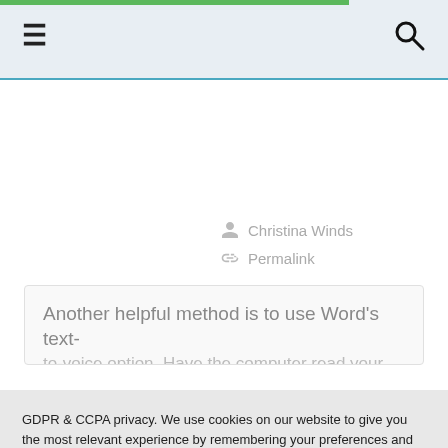≡  🔍
Christina Winds
Permalink
Another helpful method is to use Word's text-to-voice option. Have the computer read your...
GDPR & CCPA privacy. We use cookies on our website to give you the most relevant experience by remembering your preferences and repeat visits. By clicking "Accept", you consent to the use of ALL the cookies. Cookie Policy
.
Cookie settings
ACCEPT